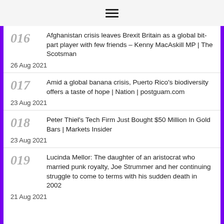☰
016 Afghanistan crisis leaves Brexit Britain as a global bit-part player with few friends – Kenny MacAskill MP | The Scotsman
26 Aug 2021
017 Amid a global banana crisis, Puerto Rico's biodiversity offers a taste of hope | Nation | postguam.com
23 Aug 2021
018 Peter Thiel's Tech Firm Just Bought $50 Million In Gold Bars | Markets Insider
23 Aug 2021
019 Lucinda Mellor: The daughter of an aristocrat who married punk royalty, Joe Strummer and her continuing struggle to come to terms with his sudden death in 2002
21 Aug 2021